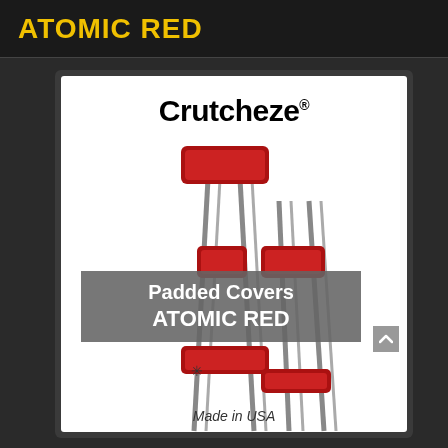ATOMIC RED
[Figure (photo): Product photo of Crutcheze padded crutch covers in Atomic Red color. Shows two crutches with red padded covers on the underarm rest, handgrip, and leg rest areas. Overlay banner reads 'Padded Covers ATOMIC RED'. Brand name 'Crutcheze®' at top. 'Made in USA' at bottom.]